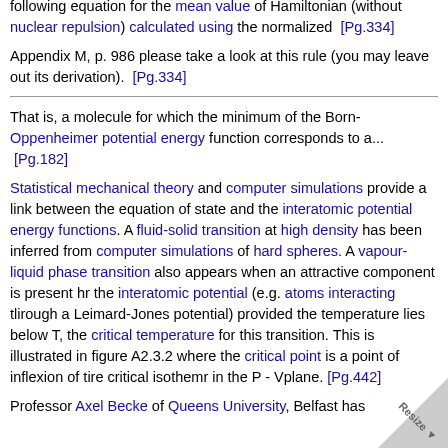following equation for the mean value of Hamiltonian (without nuclear repulsion) calculated using the normalized  [Pg.334]
Appendix M, p. 986 please take a look at this rule (you may leave out its derivation).  [Pg.334]
That is, a molecule for which the minimum of the Born-Oppenheimer potential energy function corresponds to a...  [Pg.182]
Statistical mechanical theory and computer simulations provide a link between the equation of state and the interatomic potential energy functions. A fluid-solid transition at high density has been inferred from computer simulations of hard spheres. A vapour-liquid phase transition also appears when an attractive component is present hr the interatomic potential (e.g. atoms interacting tlirough a Leimard-Jones potential) provided the temperature lies below T, the critical temperature for this transition. This is illustrated in figure A2.3.2 where the critical point is a point of inflexion of tire critical isothemr in the P - Vplane. [Pg.442]
Professor Axel Becke of Queens University, Belfast has